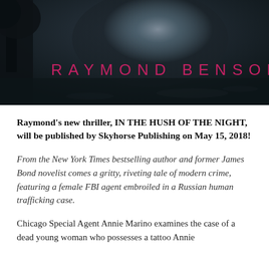[Figure (photo): Dark atmospheric book cover image with misty background featuring trees and a glowing light, with 'RAYMOND BENSON' written in pink/magenta spaced capital letters across the lower portion of the image.]
Raymond's new thriller, IN THE HUSH OF THE NIGHT, will be published by Skyhorse Publishing on May 15, 2018!
From the New York Times bestselling author and former James Bond novelist comes a gritty, riveting tale of modern crime, featuring a female FBI agent embroiled in a Russian human trafficking case.
Chicago Special Agent Annie Marino examines the case of a dead young woman who possesses a tattoo Annie